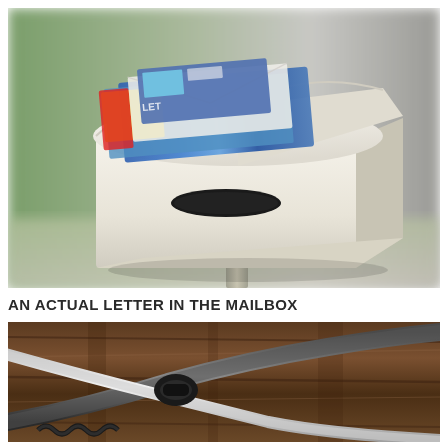[Figure (photo): A white metal mailbox mounted on a post, open lid revealing letters and magazines stuffed inside, with a dark oval slot on the front, photographed outdoors with a blurred green and grey background.]
AN ACTUAL LETTER IN THE MAILBOX
[Figure (photo): Close-up photo of black cables or wires on a wooden floor surface with dark wood grain texture, including what appears to be a coiled cable connector.]